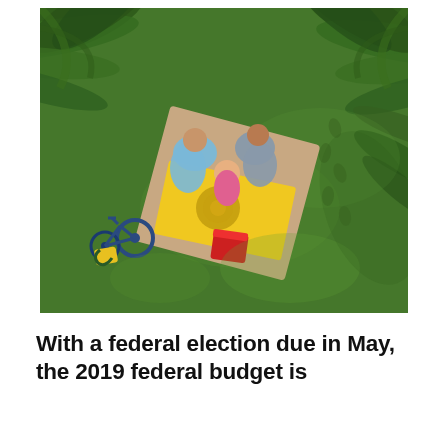[Figure (photo): Aerial/overhead view of a family having a picnic on a blanket on green grass, with palm tree fronds visible in the upper corners. A yellow picnic mat with food is visible, along with a red cooler, a bicycle, and three people sitting on a blanket.]
With a federal election due in May, the 2019 federal budget is